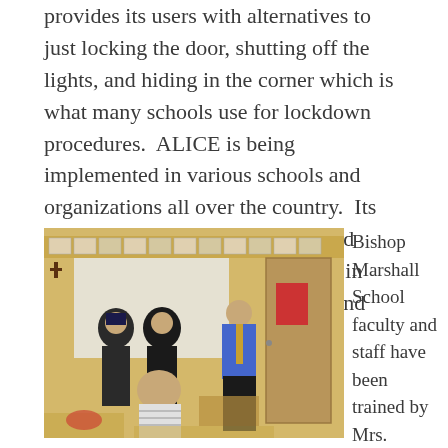provides its users with alternatives to just locking the door, shutting off the lights, and hiding in the corner which is what many schools use for lockdown procedures.  ALICE is being implemented in various schools and organizations all over the country.  Its strategies have been developed and proven to be effective as violence in workplaces, churches, hospitals, and schools increases.
[Figure (photo): A classroom scene showing two law enforcement officers standing near the front of a classroom with yellow walls. A man in a blue shirt and tie is demonstrating something near a wooden door. A student is seated at a desk in the foreground with their back to the camera.]
Bishop Marshall School faculty and staff have been trained by Mrs. Nordenson, a certified